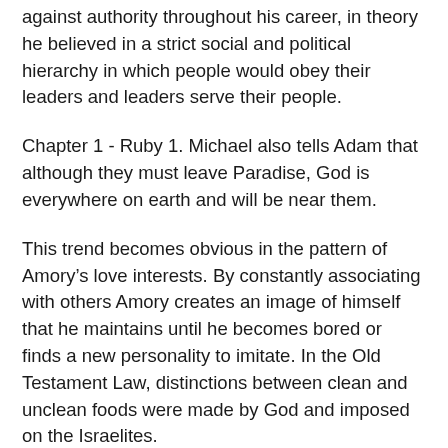against authority throughout his career, in theory he believed in a strict social and political hierarchy in which people would obey their leaders and leaders serve their people.
Chapter 1 - Ruby 1. Michael also tells Adam that although they must leave Paradise, God is everywhere on earth and will be near them.
This trend becomes obvious in the pattern of Amory’s love interests. By constantly associating with others Amory creates an image of himself that he maintains until he becomes bored or finds a new personality to imitate. In the Old Testament Law, distinctions between clean and unclean foods were made by God and imposed on the Israelites.
It is also daring us to make at least equal efforts of affection on its behalf. Traditional Christian thought grouped angels